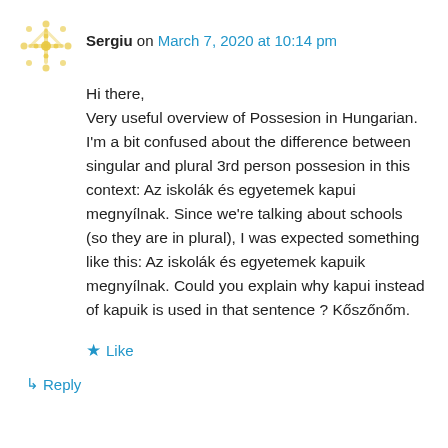Sergiu on March 7, 2020 at 10:14 pm
Hi there,
Very useful overview of Possesion in Hungarian. I'm a bit confused about the difference between singular and plural 3rd person possesion in this context: Az iskolák és egyetemek kapui megnyílnak. Since we're talking about schools (so they are in plural), I was expected something like this: Az iskolák és egyetemek kapuik megnyílnak. Could you explain why kapui instead of kapuik is used in that sentence ? Kőszőnőm.
★ Like
↳ Reply